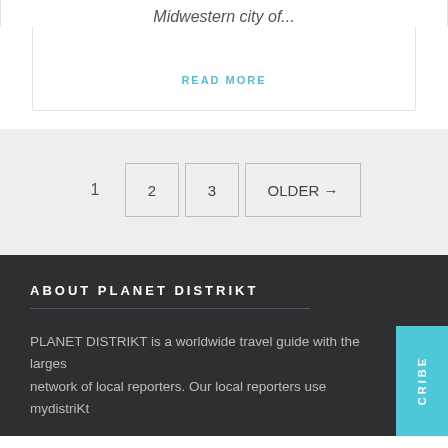Midwestern city of...
READ MORE
1  2  3  OLDER →
ABOUT PLANET DISTRIKT
PLANET DISTRIKT is a worldwide travel guide with the largest network of local reporters. Our local reporters use mydistriKt